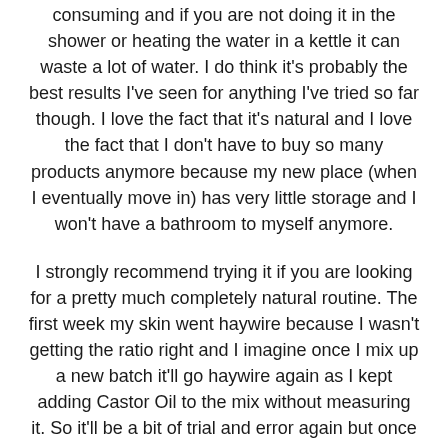consuming and if you are not doing it in the shower or heating the water in a kettle it can waste a lot of water. I do think it's probably the best results I've seen for anything I've tried so far though. I love the fact that it's natural and I love the fact that I don't have to buy so many products anymore because my new place (when I eventually move in) has very little storage and I won't have a bathroom to myself anymore.
I strongly recommend trying it if you are looking for a pretty much completely natural routine. The first week my skin went haywire because I wasn't getting the ratio right and I imagine once I mix up a new batch it'll go haywire again as I kept adding Castor Oil to the mix without measuring it. So it'll be a bit of trial and error again but once that had settled, everything felt cleaner and better moisturised.